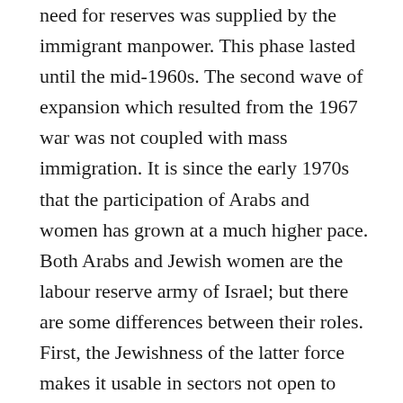need for reserves was supplied by the immigrant manpower. This phase lasted until the mid-1960s. The second wave of expansion which resulted from the 1967 war was not coupled with mass immigration. It is since the early 1970s that the participation of Arabs and women has grown at a much higher pace. Both Arabs and Jewish women are the labour reserve army of Israel; but there are some differences between their roles. First, the Jewishness of the latter force makes it usable in sectors not open to Arab employment. We have shown that this frees Jewish men to be out of the labour force (in the army), or alternatively to reduce the dependence on Arab labour. The second difference is that as future prospects of mass Jewish immigration are uncertain, Jewish women in Israel are the main zionist hope for any Jewish domographic increase. This puts the pressure on women for high